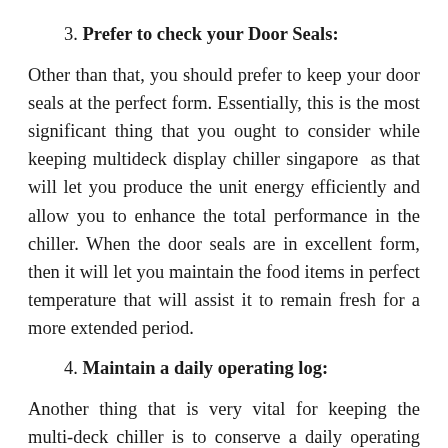3. Prefer to check your Door Seals:
Other than that, you should prefer to keep your door seals at the perfect form. Essentially, this is the most significant thing that you ought to consider while keeping multideck display chiller singapore  as that will let you produce the unit energy efficiently and allow you to enhance the total performance in the chiller. When the door seals are in excellent form, then it will let you maintain the food items in perfect temperature that will assist it to remain fresh for a more extended period.
4. Maintain a daily operating log:
Another thing that is very vital for keeping the multi-deck chiller is to conserve a daily operating log. Bear